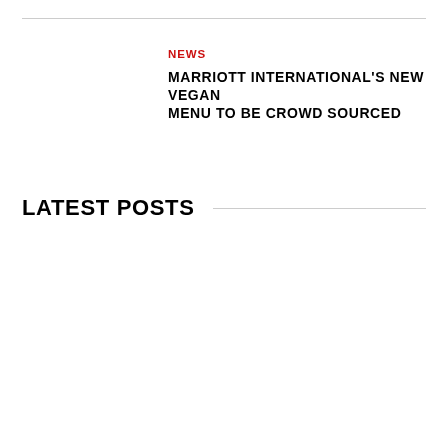NEWS
MARRIOTT INTERNATIONAL'S NEW VEGAN MENU TO BE CROWD SOURCED
LATEST POSTS